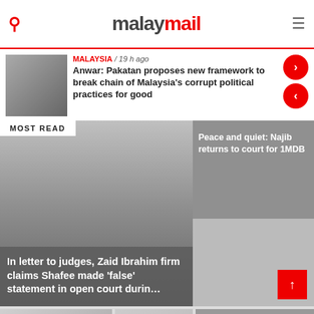malay mail
MALAYSIA / 19 h ago
Anwar: Pakatan proposes new framework to break chain of Malaysia's corrupt political practices for good
MOST READ
In letter to judges, Zaid Ibrahim firm claims Shafee made 'false' statement in open court durin…
Peace and quiet: Najib returns to court for 1MDB
Najib…